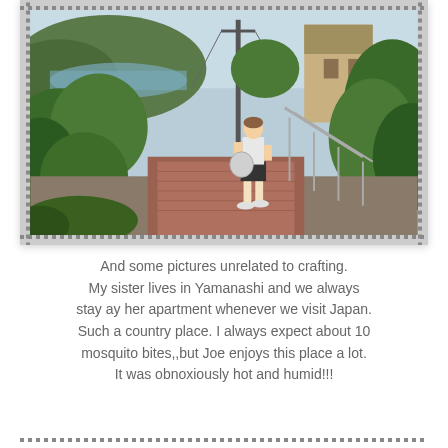[Figure (photo): A person standing on a brick path with metal railings, surrounded by lush green vegetation. A utility pole, buildings, and a hillside with water visible in the background. Appears to be a rural or semi-rural area in Japan.]
And some pictures unrelated to crafting. My sister lives in Yamanashi and we always stay ay her apartment whenever we visit Japan. Such a country place. I always expect about 10 mosquito bites,,but Joe enjoys this place a lot. It was obnoxiously hot and humid!!!